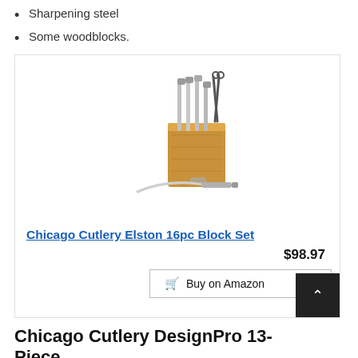Sharpening steel
Some woodblocks.
[Figure (photo): Chicago Cutlery Elston 16pc Block Set product photo showing knives in a wooden block with one knife laid in front]
Chicago Cutlery Elston 16pc Block Set
$98.97
Buy on Amazon
Chicago Cutlery DesignPro 13-Piece Block Knife Set, Black